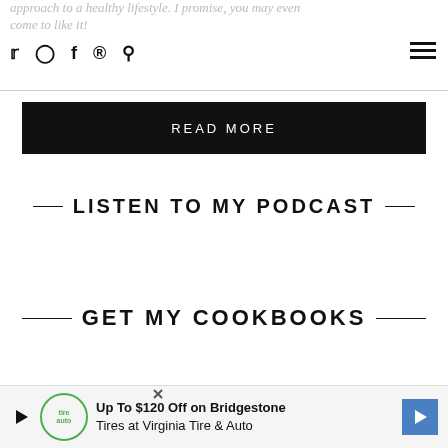approach to a healthy lifestyle. I promise, you may even come to like it!
READ MORE
LISTEN TO MY PODCAST
GET MY COOKBOOKS
FOLLOW ME ON IG
Up To $120 Off on Bridgestone Tires at Virginia Tire & Auto